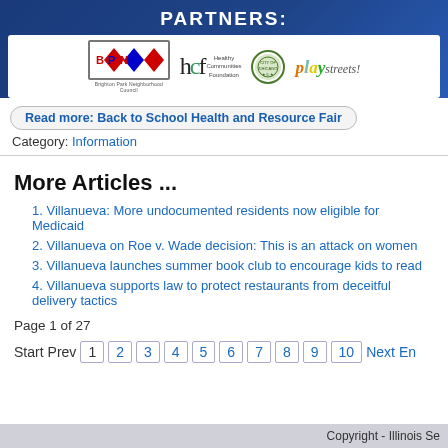[Figure (logo): Partner logos: Brighton Park Neighborhood Council, Healthy Communities Foundation (hcf), City Seal, Play Streets]
Read more: Back to School Health and Resource Fair
Category: Information
More Articles ...
Villanueva: More undocumented residents now eligible for Medicaid
Villanueva on Roe v. Wade decision: This is an attack on women
Villanueva launches summer book club to encourage kids to read
Villanueva supports law to protect restaurants from deceitful delivery tactics
Page 1 of 27
Start Prev 1 2 3 4 5 6 7 8 9 10 Next En
Copyright - Illinois Se